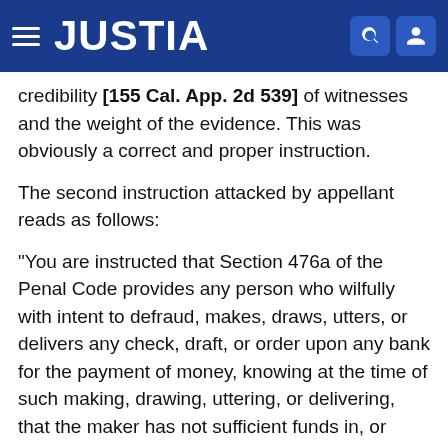JUSTIA
credibility [155 Cal. App. 2d 539] of witnesses and the weight of the evidence. This was obviously a correct and proper instruction.
The second instruction attacked by appellant reads as follows:
"You are instructed that Section 476a of the Penal Code provides any person who wilfully with intent to defraud, makes, draws, utters, or delivers any check, draft, or order upon any bank for the payment of money, knowing at the time of such making, drawing, uttering, or delivering, that the maker has not sufficient funds in, or credit with said bank or depository for the payment of such check, draft, or order in full upon its presentation, although no express representation is made with reference thereto, is guilty of the offense charged in the information.